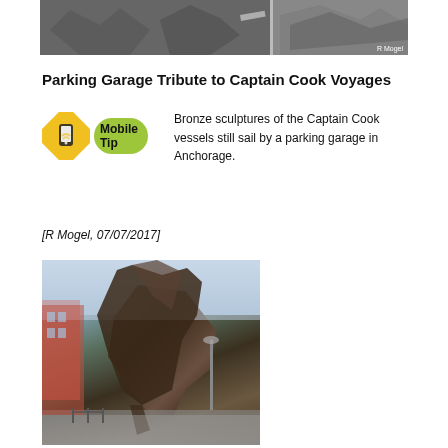[Figure (photo): Close-up photograph of rocky/rubble terrain with some metallic elements, photo credit R Mogel]
Parking Garage Tribute to Captain Cook Voyages
[Figure (infographic): Mobile Tip badge with yellow diamond road sign icon and green oval label reading Mobile Tip]
Bronze sculptures of the Captain Cook vessels still sail by a parking garage in Anchorage.
[R Mogel, 07/07/2017]
[Figure (photo): Photograph of large bronze sculpture of Captain Cook sailing vessel near a parking garage in Anchorage, with red brick building visible in background]